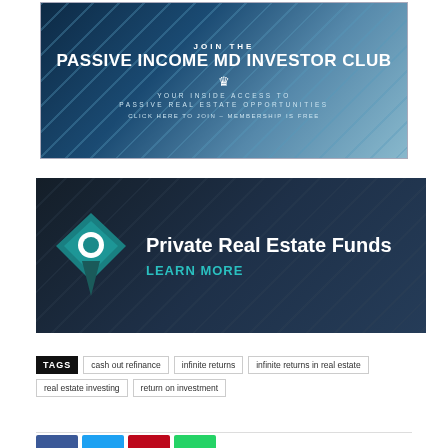[Figure (infographic): JOIN THE PASSIVE INCOME MD INVESTOR CLUB banner with blue geometric background. Crown icon. Text: YOUR INSIDE ACCESS TO PASSIVE REAL ESTATE OPPORTUNITIES. CLICK HERE TO JOIN - MEMBERSHIP IS FREE]
[Figure (infographic): Private Real Estate Funds banner with dark blue background, teal diamond/location pin icon. Text: Private Real Estate Funds, LEARN MORE]
TAGS   cash out refinance   infinite returns   infinite returns in real estate   real estate investing   return on investment